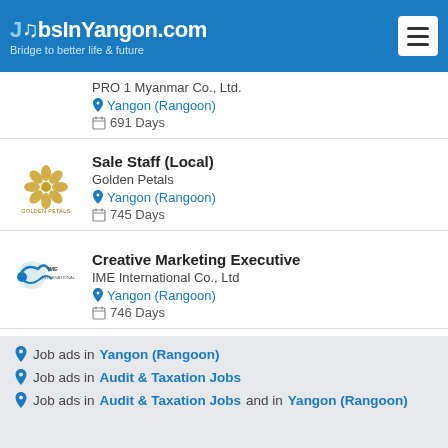JobsInYangon.com — Bridge to better life & future
PRO 1 Myanmar Co., Ltd. | Yangon (Rangoon) | 691 Days
Sale Staff (Local) | Golden Petals | Yangon (Rangoon) | 745 Days
Creative Marketing Executive | IME International Co., Ltd | Yangon (Rangoon) | 746 Days
Sale Supervisor/ Leader | Myo Naing Nine Co.,Ltd | Yangon (Rangoon) | 747 Days
Job ads in Yangon (Rangoon)
Job ads in Audit & Taxation Jobs
Job ads in Audit & Taxation Jobs and in Yangon (Rangoon)